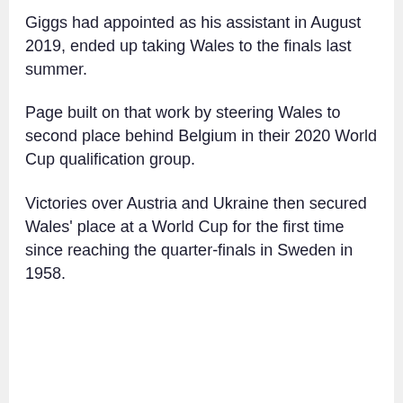Giggs had appointed as his assistant in August 2019, ended up taking Wales to the finals last summer.
Page built on that work by steering Wales to second place behind Belgium in their 2020 World Cup qualification group.
Victories over Austria and Ukraine then secured Wales' place at a World Cup for the first time since reaching the quarter-finals in Sweden in 1958.